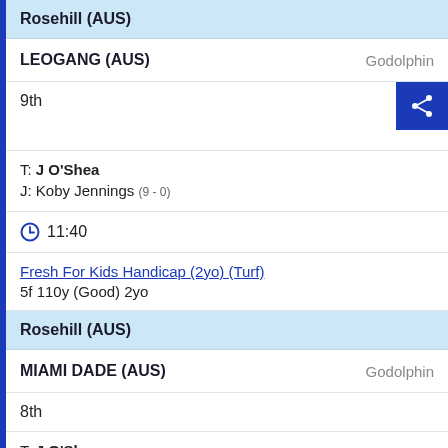Rosehill (AUS)
LEOGANG (AUS)   Godolphin
9th
T: J O'Shea
J: Koby Jennings (9-0)
11:40
Fresh For Kids Handicap (2yo) (Turf)
5f 110y (Good) 2yo
Rosehill (AUS)
MIAMI DADE (AUS)   Godolphin
8th
T: J O'Shea